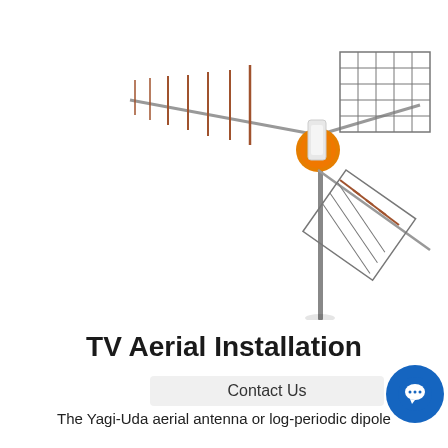[Figure (illustration): A TV aerial antenna (Yagi-Uda type) with orange connector housing mounted on a pole, shown against a white background with multiple elements and a grid reflector.]
TV Aerial Installation
Contact Us
The Yagi-Uda aerial antenna or log-periodic dipole array is for the most basic TV aerial